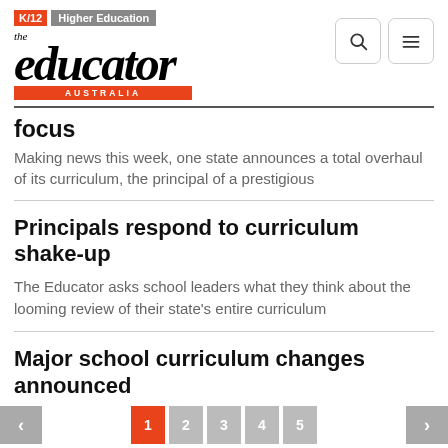K/12 | Higher Education — the educator AUSTRALIA
focus
Making news this week, one state announces a total overhaul of its curriculum, the principal of a prestigious
Principals respond to curriculum shake-up
The Educator asks school leaders what they think about the looming review of their state's entire curriculum
Major school curriculum changes announced
< 1 2 3 4 5 >